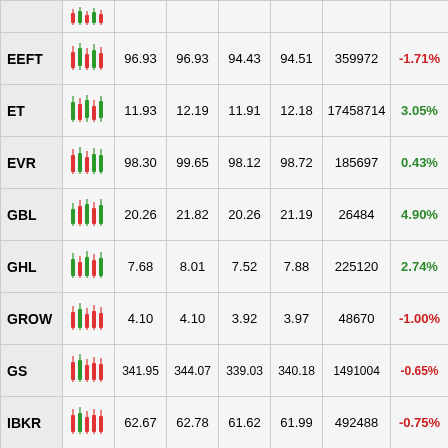| Ticker | Chart | Open | High | Low | Close | Volume | Change% |
| --- | --- | --- | --- | --- | --- | --- | --- |
| EEFT | [chart] | 96.93 | 96.93 | 94.43 | 94.51 | 359972 | -1.71% |
| ET | [chart] | 11.93 | 12.19 | 11.91 | 12.18 | 17458714 | 3.05% |
| EVR | [chart] | 98.30 | 99.65 | 98.12 | 98.72 | 185697 | 0.43% |
| GBL | [chart] | 20.26 | 21.82 | 20.26 | 21.19 | 26484 | 4.90% |
| GHL | [chart] | 7.68 | 8.01 | 7.52 | 7.88 | 225120 | 2.74% |
| GROW | [chart] | 4.10 | 4.10 | 3.92 | 3.97 | 48670 | -1.00% |
| GS | [chart] | 341.95 | 344.07 | 339.03 | 340.18 | 1491004 | -0.65% |
| IBKR | [chart] | 62.67 | 62.78 | 61.62 | 61.99 | 492488 | -0.75% |